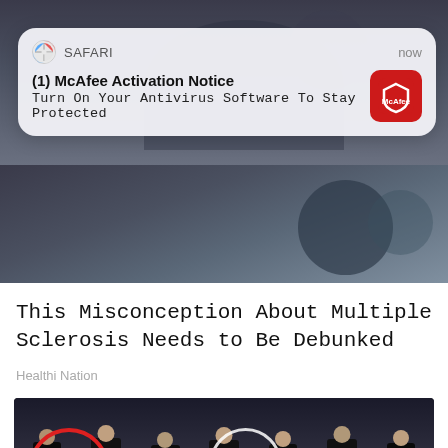[Figure (screenshot): Background photo of dark object at top of page, partially obscured by notification banner]
[Figure (screenshot): iOS Safari push notification banner: SAFARI / now / (1) McAfee Activation Notice / Turn On Your Antivirus Software To Stay Protected / McAfee red icon]
[Figure (photo): Article thumbnail image showing dark background]
This Misconception About Multiple Sclerosis Needs to Be Debunked
Healthi Nation
[Figure (photo): Video thumbnail showing group of people in suits standing in CIA headquarters lobby, one person circled in red, play button overlay, CIA seal text on floor]